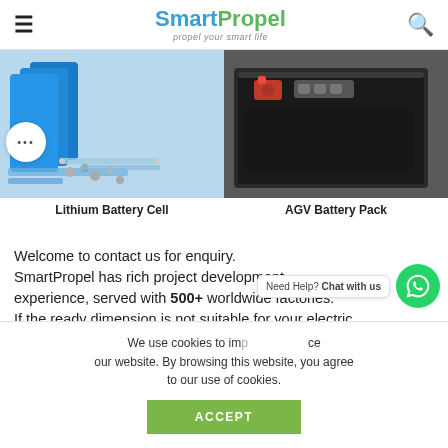SmartPropel – propel your smart life
[Figure (photo): Lithium Battery Cell product photo showing blue rectangular battery cells with hardware components]
Lithium Battery Cell
[Figure (photo): AGV Battery Pack product photo showing dark rectangular battery pack unit]
AGV Battery Pack
Welcome to contact us for enquiry. SmartPropel has rich project development experience, served with 500+ worldwide factories. If the ready dimension is not suitable for your electric
We use cookies to improve your experience on our website. By browsing this website, you agree to our use of cookies.
ACCEPT